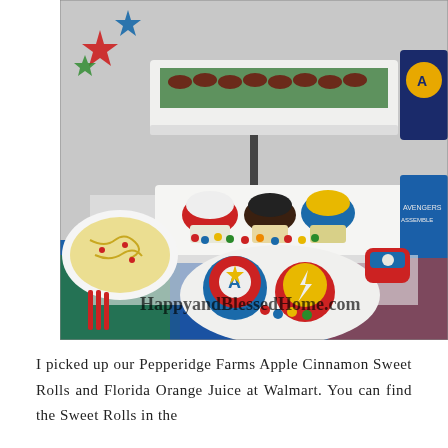[Figure (photo): Avengers-themed party food table with tiered trays holding sausages on greens and decorated cupcakes, a plate in the foreground with Captain America and other Avengers-themed decorated sweet rolls/cookies, pasta salad on the left, Avengers merchandise on the right, Avengers tablecloth, and watermark text 'HappyandBlessedHome.com']
I picked up our Pepperidge Farms Apple Cinnamon Sweet Rolls and Florida Orange Juice at Walmart. You can find the Sweet Rolls in the